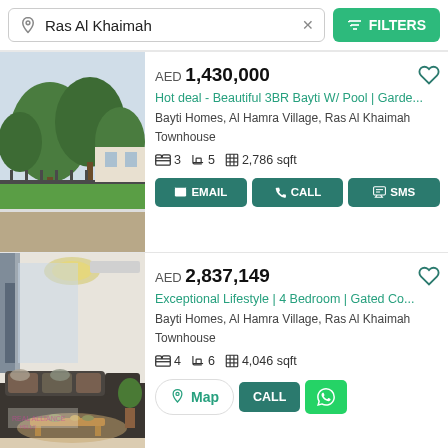Ras Al Khaimah × | FILTERS
AED 1,430,000
Hot deal - Beautiful 3BR Bayti W/ Pool | Garde...
Bayti Homes, Al Hamra Village, Ras Al Khaimah
Townhouse
3 beds · 5 baths · 2,786 sqft
EMAIL | CALL | SMS
AED 2,837,149
Exceptional Lifestyle | 4 Bedroom | Gated Co...
Bayti Homes, Al Hamra Village, Ras Al Khaimah
Townhouse
4 beds · 6 baths · 4,046 sqft
Map | CALL | WhatsApp
AED 1,300,000